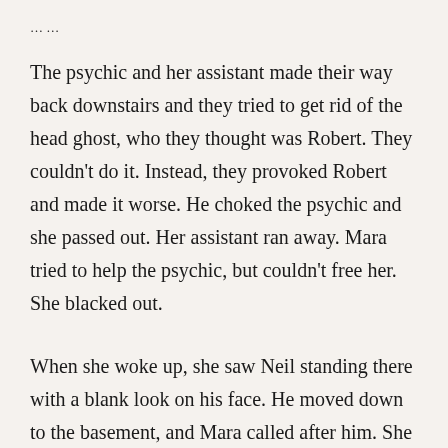… …
The psychic and her assistant made their way back downstairs and they tried to get rid of the head ghost, who they thought was Robert. They couldn't do it. Instead, they provoked Robert and made it worse. He choked the psychic and she passed out. Her assistant ran away. Mara tried to help the psychic, but couldn't free her. She blacked out.
When she woke up, she saw Neil standing there with a blank look on his face. He moved down to the basement, and Mara called after him. She didn't like the basement, it freaked her out. Neil was acting strange. He wasn't the same Neil he was before.